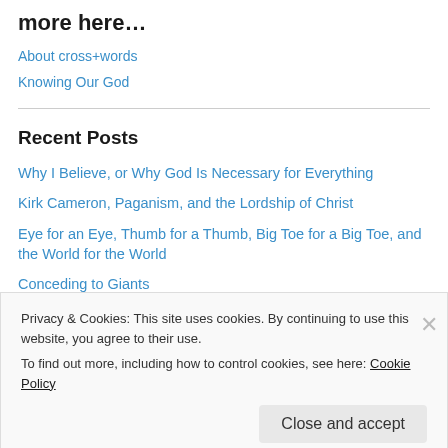more here…
About cross+words
Knowing Our God
Recent Posts
Why I Believe, or Why God Is Necessary for Everything
Kirk Cameron, Paganism, and the Lordship of Christ
Eye for an Eye, Thumb for a Thumb, Big Toe for a Big Toe, and the World for the World
Conceding to Giants
Our Common Meal by Jeffrey J. Meyers
Privacy & Cookies: This site uses cookies. By continuing to use this website, you agree to their use.
To find out more, including how to control cookies, see here: Cookie Policy
Close and accept